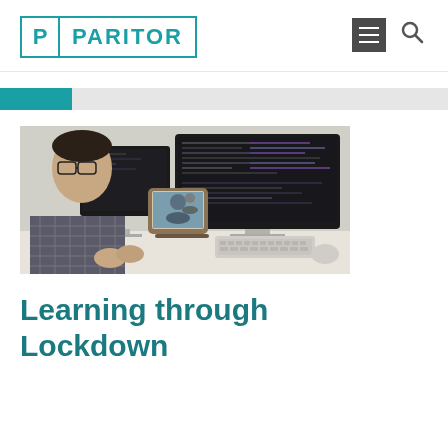PARITOR
[Figure (photo): Office scene: a person wearing glasses and a checkered shirt sits at a desk looking at a large dark monitor displaying code or data. A tablet in a wooden stand shows a video call. A keyboard and plant are on the white desk.]
Learning through Lockdown